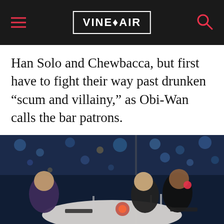VINEPAIR
Han Solo and Chewbacca, but first have to fight their way past drunken “scum and villainy,” as Obi-Wan calls the bar patrons.
[Figure (photo): Three women sitting at a restaurant table with city lights visible through large windows in the background at night. Two women on the right side are engaged in conversation.]